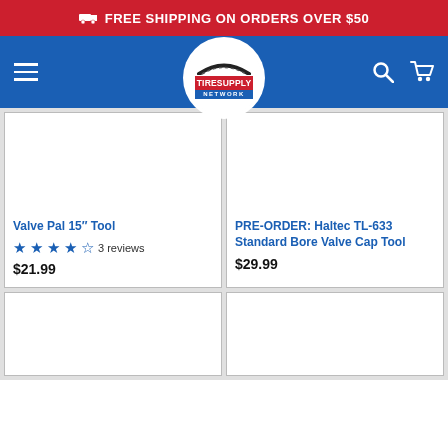FREE SHIPPING ON ORDERS OVER $50
[Figure (logo): Tire Supply Network logo with truck icon and navigation bar]
Valve Pal 15" Tool — 3 reviews — $21.99
PRE-ORDER: Haltec TL-633 Standard Bore Valve Cap Tool — $29.99